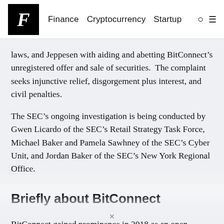F  Finance  Cryptocurrency  Startup
laws, and Jeppesen with aiding and abetting BitConnect’s unregistered offer and sale of securities.  The complaint seeks injunctive relief, disgorgement plus interest, and civil penalties.
The SEC’s ongoing investigation is being conducted by Gwen Licardo of the SEC’s Retail Strategy Task Force, Michael Baker and Pamela Sawhney of the SEC’s Cyber Unit, and Jordan Baker of the SEC’s New York Regional Office.
Briefly about BitConnect
BitConnect gained prominence in 2018 as an open-source crypto project promising high yields. However, the founders were